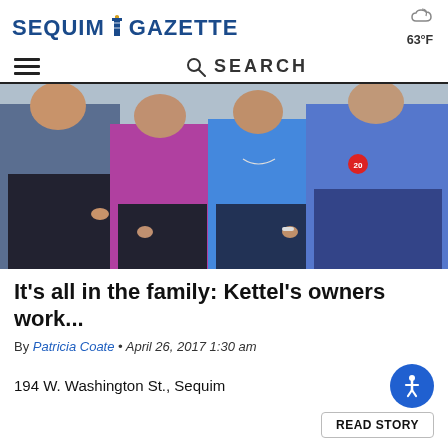SEQUIM GAZETTE — 63°F
☰   🔍 SEARCH
[Figure (photo): Four people standing together outdoors: a man in a blue plaid shirt on the left, a woman in a pink/magenta top, a woman in a blue t-shirt, and a man in a blue zip-up hoodie on the right.]
It's all in the family: Kettel's owners work...
By Patricia Coate • April 26, 2017 1:30 am
194 W. Washington St., Sequim
READ STORY